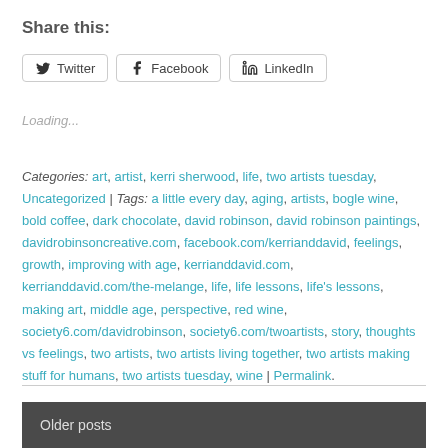Share this:
Twitter  Facebook  LinkedIn
Loading...
Categories: art, artist, kerri sherwood, life, two artists tuesday, Uncategorized | Tags: a little every day, aging, artists, bogle wine, bold coffee, dark chocolate, david robinson, david robinson paintings, davidrobinsoncreative.com, facebook.com/kerrianddavid, feelings, growth, improving with age, kerrianddavid.com, kerrianddavid.com/the-melange, life, life lessons, life's lessons, making art, middle age, perspective, red wine, society6.com/davidrobinson, society6.com/twoartists, story, thoughts vs feelings, two artists, two artists living together, two artists making stuff for humans, two artists tuesday, wine | Permalink.
Older posts